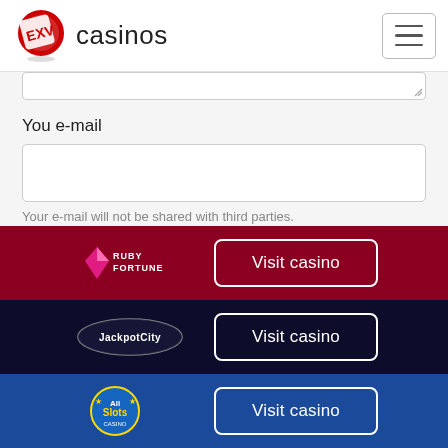[Figure (logo): EXV Casinos logo with dice icon and text 'casinos']
You e-mail
Your e-mail will not be shared with third parties.
Your nickname
[Figure (logo): Ruby Fortune casino logo with pink diamond]
Visit casino
[Figure (logo): JackpotCity casino logo]
Visit casino
[Figure (logo): All Slots casino logo]
Visit casino